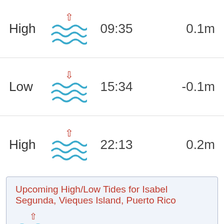| Type | Icon | Time | Height |
| --- | --- | --- | --- |
| High | ↑ waves | 09:35 | 0.1m |
| Low | ↓ waves | 15:34 | -0.1m |
| High | ↑ waves | 22:13 | 0.2m |
Upcoming High/Low Tides for Isabel Segunda, Vieques Island, Puerto Rico
[Figure (illustration): Tide wave icon with upward arrow, partial view at bottom of upcoming box]